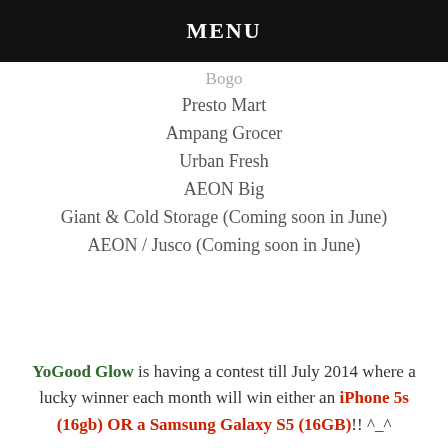MENU
Bogo
Presto Mart
Ampang Grocer
Urban Fresh
AEON Big
Giant & Cold Storage (Coming soon in June)
AEON / Jusco (Coming soon in June)
YoGood Glow is having a contest till July 2014 where a lucky winner each month will win either an iPhone 5s (16gb) OR a Samsung Galaxy S5 (16GB)!! ^_^